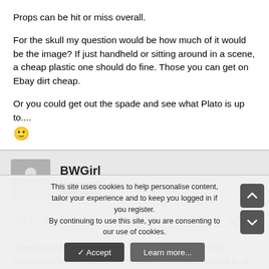Props can be hit or miss overall.
For the skull my question would be how much of it would be the image? If just handheld or sitting around in a scene, a cheap plastic one should do fine. Those you can get on Ebay dirt cheap.
Or you could get out the spade and see what Plato is up to.... 🙂
BWGirl
Member
Oct 27, 2004
#4
Check a school. They often have skeletons used in physical science classes. They may consider renting it, or let you shoo...
This site uses cookies to help personalise content, tailor your experience and to keep you logged in if you register.
By continuing to use this site, you are consenting to our use of cookies.